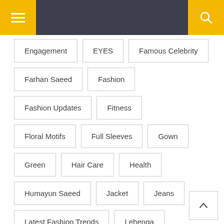Navigation header with menu and search icons
Engagement
EYES
Famous Celebrity
Farhan Saeed
Fashion
Fashion Updates
Fitness
Floral Motifs
Full Sleeves
Gown
Green
Hair Care
Health
Humayun Saeed
Jacket
Jeans
Latest Fashion Trends
Lehenga